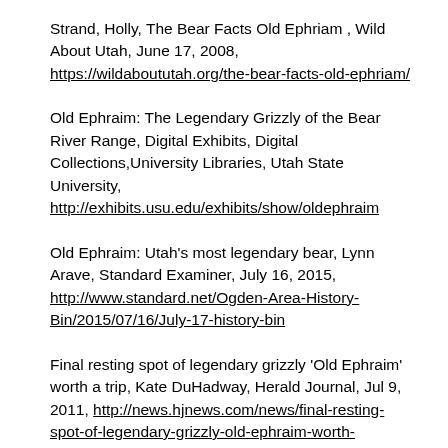Strand, Holly, The Bear Facts Old Ephriam , Wild About Utah, June 17, 2008, https://wildaboututah.org/the-bear-facts-old-ephriam/
Old Ephraim: The Legendary Grizzly of the Bear River Range, Digital Exhibits, Digital Collections,University Libraries, Utah State University, http://exhibits.usu.edu/exhibits/show/oldephraim
Old Ephraim: Utah's most legendary bear, Lynn Arave, Standard Examiner, July 16, 2015, http://www.standard.net/Ogden-Area-History-Bin/2015/07/16/July-17-history-bin
Final resting spot of legendary grizzly 'Old Ephraim' worth a trip, Kate DuHadway, Herald Journal, Jul 9, 2011, http://news.hjnews.com/news/final-resting-spot-of-legendary-grizzly-old-ephraim-worth-